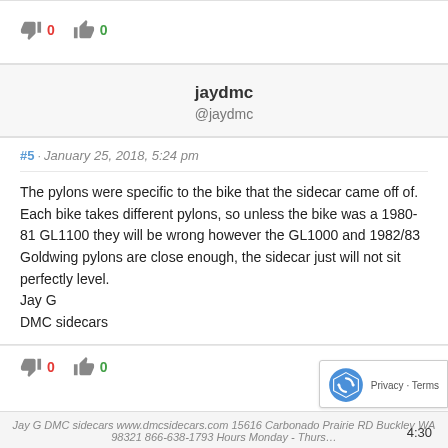[Figure (other): Thumbs down icon with red 0 count and thumbs up icon with green 0 count (top section)]
jaydmc
@jaydmc
#5 · January 25, 2018, 5:24 pm
The pylons were specific to the bike that the sidecar came off of. Each bike takes different pylons, so unless the bike was a 1980-81 GL1100 they will be wrong however the GL1000 and 1982/83 Goldwing pylons are close enough, the sidecar just will not sit perfectly level.
Jay G
DMC sidecars
[Figure (other): Thumbs down icon with red 0 count and thumbs up icon with green 0 count (bottom section)]
Jay G DMC sidecars www.dmcsidecars.com 15616 Carbonado Prairie RD Buckley WA 98321 866-638-1793 Hours Monday - Thurs... 4:30